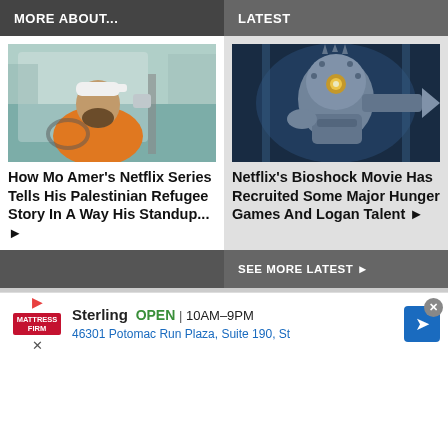MORE ABOUT... | LATEST
[Figure (photo): Man sitting in a car, wearing an orange shirt and backwards cap, looking out the window]
How Mo Amer's Netflix Series Tells His Palestinian Refugee Story In A Way His Standup... ▶
[Figure (photo): Bioshock game character Big Daddy in armored diving suit with glowing eye, reaching forward]
Netflix's Bioshock Movie Has Recruited Some Major Hunger Games And Logan Talent ▶
SEE MORE LATEST ▶
Sterling  OPEN  10AM–9PM  46301 Potomac Run Plaza, Suite 190, St